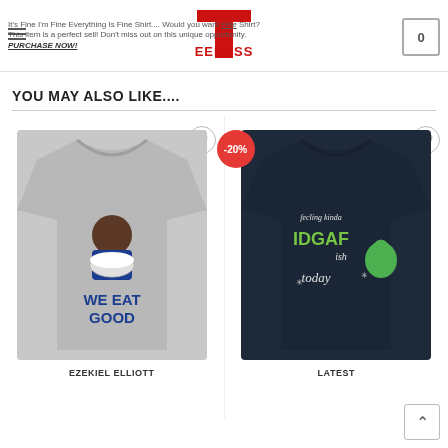It's Fine I'm Fine Everything Is Fine Shirt.... Would you want Fine Shirt? This item is a perfect sell! Don't miss out on this unique opportunity. PURCHASE NOW!
YOU MAY ALSO LIKE....
[Figure (photo): Gray t-shirt with 'WE EAT GOOD' text and Ezekiel Elliott eating popcorn graphic]
EZEKIEL ELLIOTT
[Figure (photo): Navy t-shirt with Grinch graphic and 'feeling kinda IDGAFish today' text, -20% sale badge]
LATEST